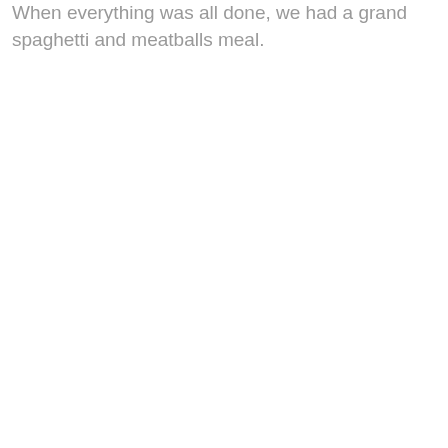When everything was all done, we had a grand spaghetti and meatballs meal.